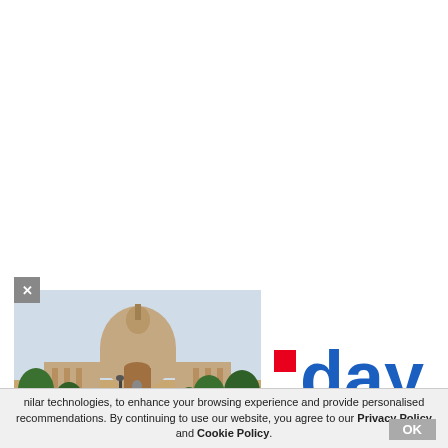[Figure (photo): Photo of the Supreme Court of India building with dome, trees, and statue in foreground]
[Figure (logo): Partial logo showing red square dot and '-day' text in blue bold font, partially cropped]
similar technologies, to enhance your browsing experience and provide personalised recommendations. By continuing to use our website, you agree to our Privacy Policy and Cookie Policy.